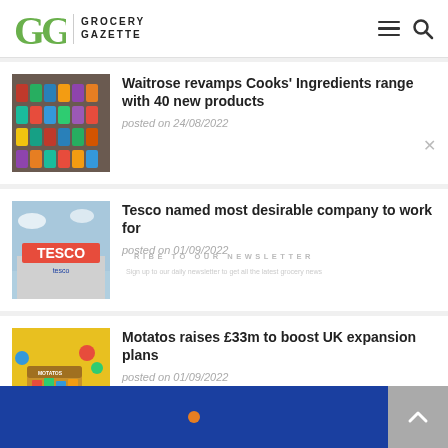Grocery Gazette
Waitrose revamps Cooks' Ingredients range with 40 new products
posted on 24/08/2022
Tesco named most desirable company to work for
posted on 01/09/2022
Motatos raises £33m to boost UK expansion plans
posted on 01/09/2022